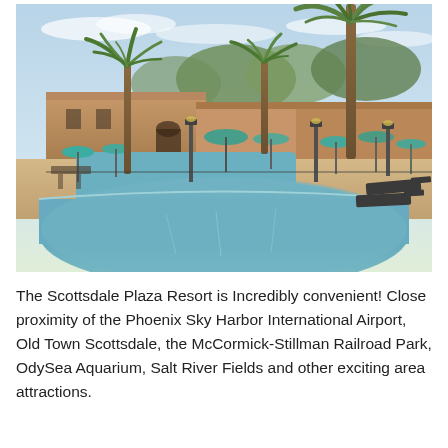[Figure (photo): Outdoor resort pool area at dusk or early evening. Large swimming pool in the foreground with calm blue-green water reflecting palm trees and lamp posts. Adobe/Southwest-style buildings in terracotta/tan colors in the background. Several tall palm trees, teal/turquoise patio umbrellas, lounge chairs, and lamp posts around the pool deck. Steps lead up to a second elevated pool or water feature. Sky is light blue with soft clouds.]
The Scottsdale Plaza Resort is Incredibly convenient! Close proximity of the Phoenix Sky Harbor International Airport, Old Town Scottsdale, the McCormick-Stillman Railroad Park, OdySea Aquarium, Salt River Fields and other exciting area attractions.